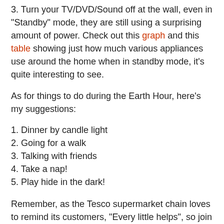3. Turn your TV/DVD/Sound off at the wall, even in "Standby" mode, they are still using a surprising amount of power. Check out this graph and this table showing just how much various appliances use around the home when in standby mode, it's quite interesting to see.
As for things to do during the Earth Hour, here's my suggestions:
1. Dinner by candle light
2. Going for a walk
3. Talking with friends
4. Take a nap!
5. Play hide in the dark!
Remember, as the Tesco supermarket chain loves to remind its customers, "Every little helps", so join in, whats turning some lights off for an hour really going to do to you?